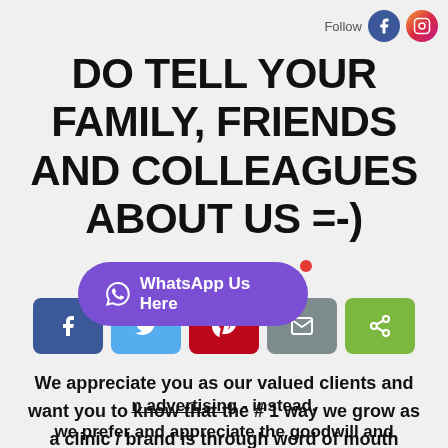Follow
DO TELL YOUR FAMILY, FRIENDS AND COLLEAGUES ABOUT US =-)
[Figure (infographic): Social share buttons: Facebook (blue), Twitter (light blue), Pinterest (red), Email (grey), Share (green)]
We appreciate you as our valued clients and want you to know that the # 1 way we grow as a clinic / brand is through word of mouth referrals from valued patients like yourself.
[Figure (infographic): WhatsApp Us Here button in purple with a red notification dot]
in advertising - instead, we prefer and appreciate the goodwill and